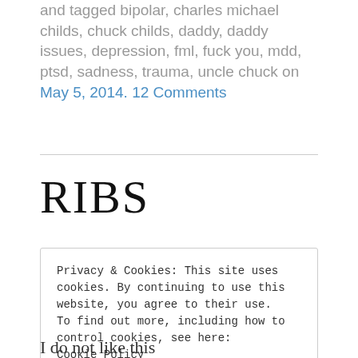and tagged bipolar, charles michael childs, chuck childs, daddy, daddy issues, depression, fml, fuck you, mdd, ptsd, sadness, trauma, uncle chuck on May 5, 2014. 12 Comments
RIBS
Privacy & Cookies: This site uses cookies. By continuing to use this website, you agree to their use.
To find out more, including how to control cookies, see here:
Cookie Policy
Close and accept
I do not like this